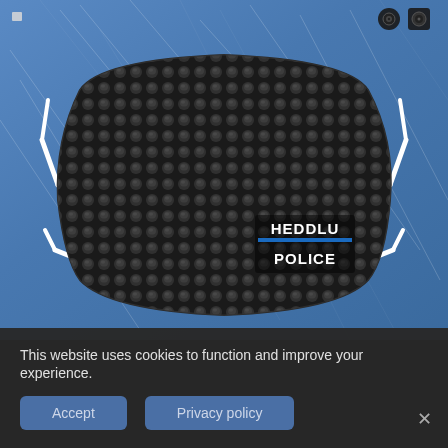[Figure (photo): A black textured face mask with 'HEDDLU POLICE' text in white and blue on the lower right side, displayed against a scratched blue metallic background. Small black icons visible in the top right corner.]
This website uses cookies to function and improve your experience.
Accept
Privacy policy